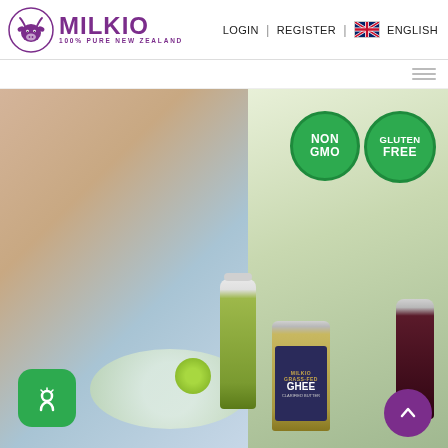[Figure (logo): Milkio logo with cow head icon and text MILKIO 100% PURE NEW ZEALAND in purple]
LOGIN  |  REGISTER  |  ENGLISH
[Figure (photo): Hero banner showing a smiling woman eating a salad with green juice bottle and Milkio Grassfed Ghee jar and another dark bottle. NON GMO and GLUTEN FREE badge overlays in green circles. Green cart button bottom-left and purple scroll-to-top button bottom-right.]